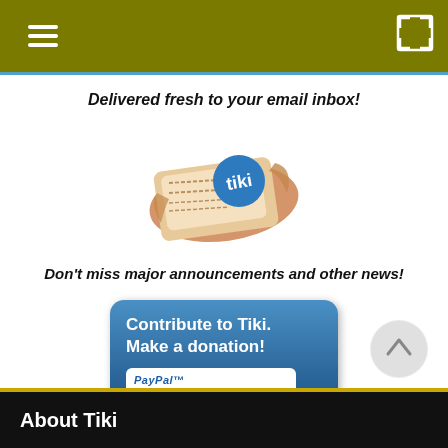Delivered fresh to your email inbox!
[Figure (illustration): Illustration of a rolled/folded newspaper with a Tiki logo on it]
Don't miss major announcements and other news!
[Figure (illustration): Contribute to Tiki. Make a donation! button with PayPal payment options (MasterCard, Visa, Amex, Discover, and other card)]
About Tiki